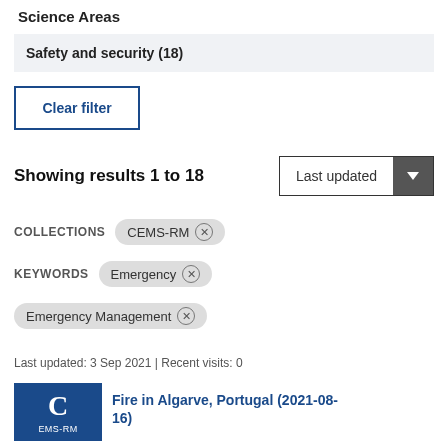Science Areas
Safety and security (18)
Clear filter
Showing results 1 to 18
Last updated
COLLECTIONS   CEMS-RM ×
KEYWORDS   Emergency ×
Emergency Management ×
Last updated: 3 Sep 2021 | Recent visits: 0
Fire in Algarve, Portugal (2021-08-16)